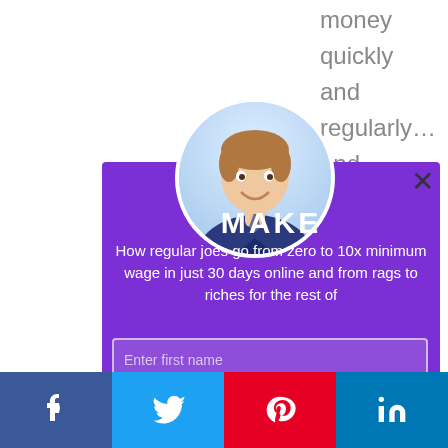money quickly and regularly… and good
Is
r
[Figure (photo): Circular portrait photo of a smiling man in a business suit with tie]
MAKE
How regular joes go from zero to 10x minimum wage in just 30 days online and from rags to riches for the rest of
Enter first name
Enter email address
f
t (Twitter bird)
p (Pinterest)
in